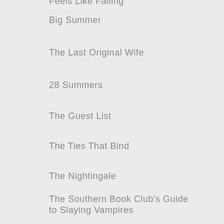Feels Like Falling
Big Summer
The Last Original Wife
28 Summers
The Guest List
The Ties That Bind
The Nightingale
The Southern Book Club's Guide to Slaying Vampires
The Silent Patient
Summerland
Sacred Rest
Shem Creek
The Identicals